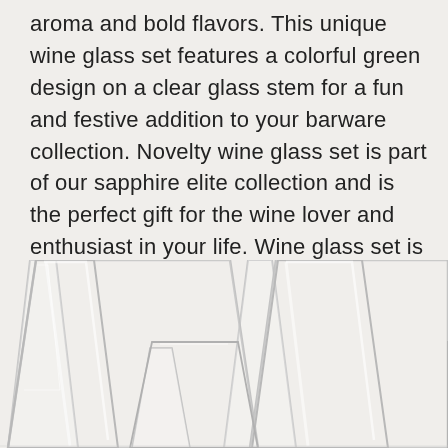aroma and bold flavors. This unique wine glass set features a colorful green design on a clear glass stem for a fun and festive addition to your barware collection. Novelty wine glass set is part of our sapphire elite collection and is the perfect gift for the wine lover and enthusiast in your life. Wine glass set is dishwasher safe and comes neatly and safely packaged and ready for gift giving in our signature gift box. Each wine glass measures 44″ diameter and 78″ height and will hold 18 oz of your favorite wine, sangria, cocktail, or any drink of choice.
[Figure (photo): Row of clear wine glasses/tumblers shown from below, overlapping, against a light background. Multiple glasses of varying sizes visible, cropped at the bottom of the page.]